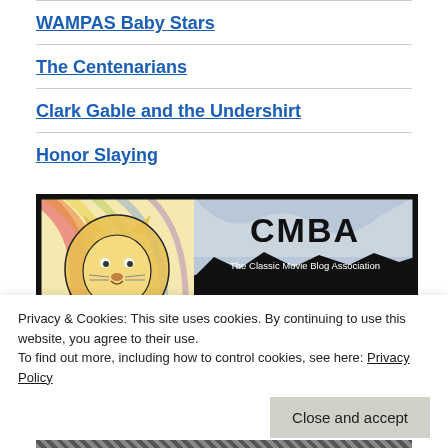WAMPAS Baby Stars
The Centenarians
Clark Gable and the Undershirt
Honor Slaying
[Figure (logo): CMBA - The Classic Movie Blog Association 2015 Winner banner with lion illustration on left and colorful swirl background on right]
Privacy & Cookies: This site uses cookies. By continuing to use this website, you agree to their use. To find out more, including how to control cookies, see here: Privacy Policy
Close and accept